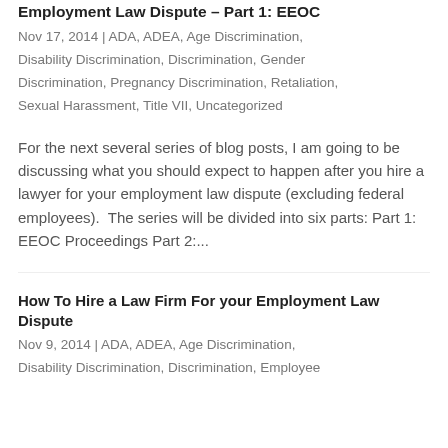Employment Law Dispute – Part 1: EEOC
Nov 17, 2014 | ADA, ADEA, Age Discrimination, Disability Discrimination, Discrimination, Gender Discrimination, Pregnancy Discrimination, Retaliation, Sexual Harassment, Title VII, Uncategorized
For the next several series of blog posts, I am going to be discussing what you should expect to happen after you hire a lawyer for your employment law dispute (excluding federal employees).  The series will be divided into six parts: Part 1:  EEOC Proceedings Part 2:...
How To Hire a Law Firm For your Employment Law Dispute
Nov 9, 2014 | ADA, ADEA, Age Discrimination, Disability Discrimination, Discrimination, Employee